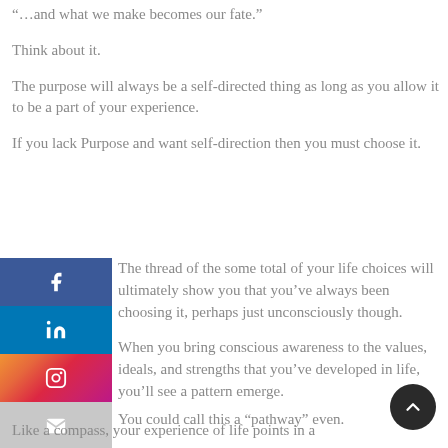“…and what we make becomes our fate.”
Think about it.
The purpose will always be a self-directed thing as long as you allow it to be a part of your experience.
If you lack Purpose and want self-direction then you must choose it.
The thread of the some total of your life choices will ultimately show you that you’ve always been choosing it, perhaps just unconsciously though.
When you bring conscious awareness to the values, ideals, and strengths that you’ve developed in life, you’ll see a pattern emerge.
You could call this a “pathway” even.
Like a compass, your experience of life points in a